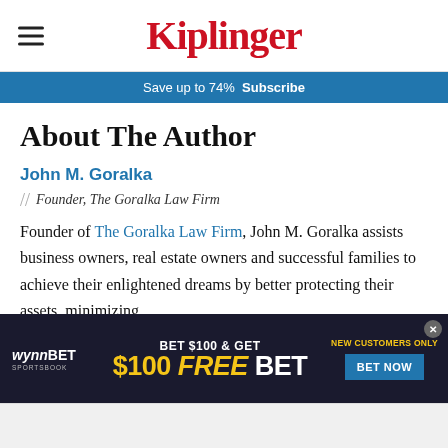Kiplinger
Save up to 74%  Subscribe
About The Author
John M. Goralka
// Founder, The Goralka Law Firm
Founder of The Goralka Law Firm, John M. Goralka assists business owners, real estate owners and successful families to achieve their enlightened dreams by better protecting their assets, minimizing
[Figure (screenshot): WynnBET Sportsbook advertisement banner: BET $100 & GET $100 FREE BET. New Customers Only. BET NOW button.]